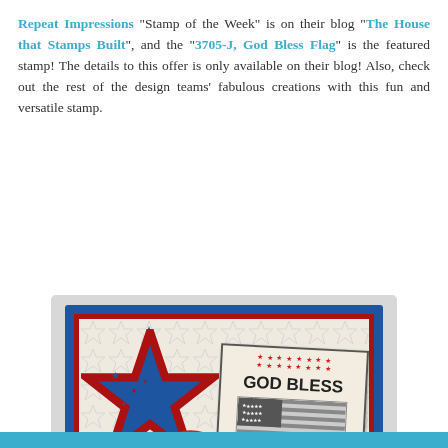Repeat Impressions "Stamp of the Week" is on their blog "The House that Stamps Built", and the "3705-J, God Bless Flag" is the featured stamp! The details to this offer is only available on their blog! Also, check out the rest of the design teams' fabulous creations with this fun and versatile stamp.
[Figure (photo): A patriotic handmade card featuring a large blue star cutout with a red star outline beneath, small stars scattered inside, a stamped label reading 'GOD BLESS AMERICA' with an American flag image, red and white twine/ribbon, on a blue card background with embossed star pattern. Designed by Lassie Drum, www.craftingwithlassie.blogspot.com]